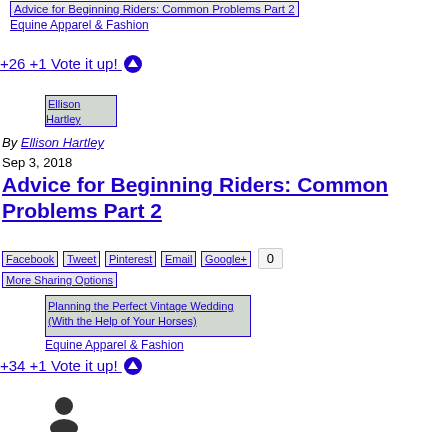Advice for Beginning Riders: Common Problems Part 2 | Equine Apparel & Fashion
+26 +1 Vote it up!
[Figure (photo): Ellison Hartley profile image placeholder]
By Ellison Hartley
Sep 3, 2018
Advice for Beginning Riders: Common Problems Part 2
Facebook | Tweet | Pinterest | Email | Google+ | 0 | More Sharing Options
Planning the Perfect Vintage Wedding (With the Help of Your Horses) | Equine Apparel & Fashion
+34 +1 Vote it up!
[Figure (photo): Person/user icon placeholder]